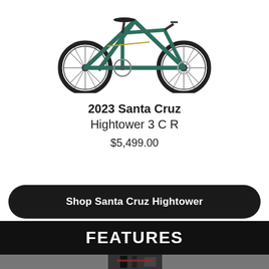[Figure (photo): 2023 Santa Cruz Hightower 3 C R mountain bike in teal/green color, shown in profile view against white background]
2023 Santa Cruz Hightower 3 C R
$5,499.00
Shop Santa Cruz Hightower
FEATURES
[Figure (photo): Close-up photo of bike component/frame detail, partially visible at bottom of page]